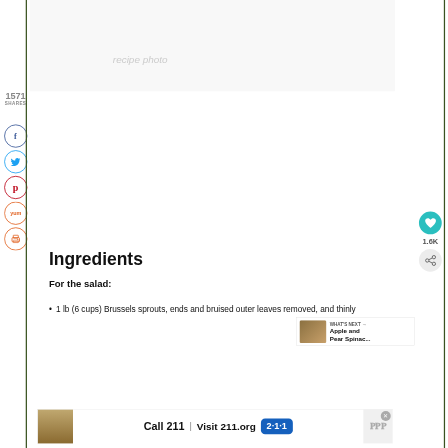1571
SHARES
[Figure (infographic): Social media share buttons: Facebook (dark blue circle with f), Twitter (light blue circle with bird), Pinterest (red circle with p), Yummly (orange circle with 'yum'), Print (orange circle with printer icon)]
[Figure (photo): Faded/partial food photo at top of page]
Ingredients
For the salad:
1 lb (6 cups) Brussels sprouts, ends and bruised outer leaves removed, and thinly
[Figure (infographic): WHAT'S NEXT arrow label with Apple and Pear Spinac... text and food thumbnail image]
[Figure (infographic): Right side: teal heart button showing 1.6K likes, and share button]
[Figure (infographic): Advertisement banner: Call 211 | Visit 211.org with 2-1-1 badge logo]